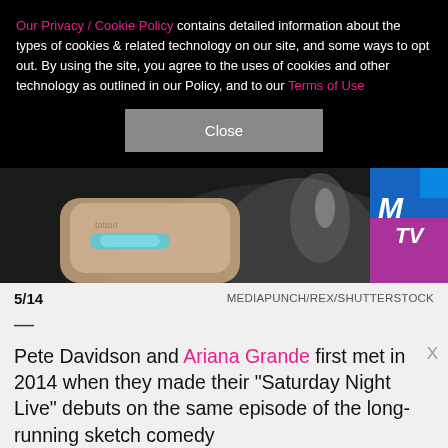Our Privacy / Cookie Policy contains detailed information about the types of cookies & related technology on our site, and some ways to opt out. By using the site, you agree to the uses of cookies and other technology as outlined in our Policy, and to our Terms of Use
Close
[Figure (photo): Close-up photo showing a hand/wrist with a light blue bracelet against a dark shiny garment background, with MTV logo visible on the right side]
5/14    MEDIAPUNCH/REX/SHUTTERSTOCK
—
Pete Davidson and Ariana Grande first met in 2014 when they made their "Saturday Night Live" debuts on the same episode of the long-running sketch comedy
[Figure (screenshot): CVS Pharmacy advertisement banner showing: In-store shopping, Drive-through, Delivery options with CVS logo and navigation arrow]